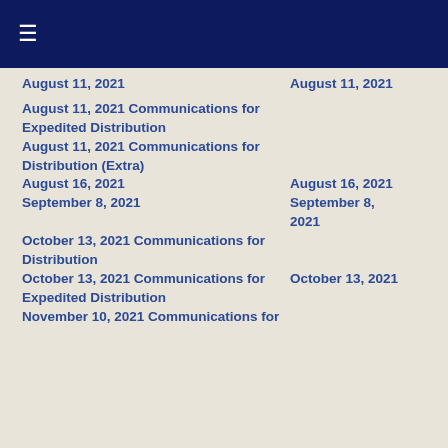☰
August 11, 2021
August 11, 2021
August 11, 2021 Communications for Expedited Distribution
August 11, 2021 Communications for Distribution (Extra)
August 16, 2021
August 16, 2021
September 8, 2021
September 8, 2021
October 13, 2021 Communications for Distribution
October 13, 2021 Communications for Expedited Distribution
October 13, 2021
November 10, 2021 Communications for